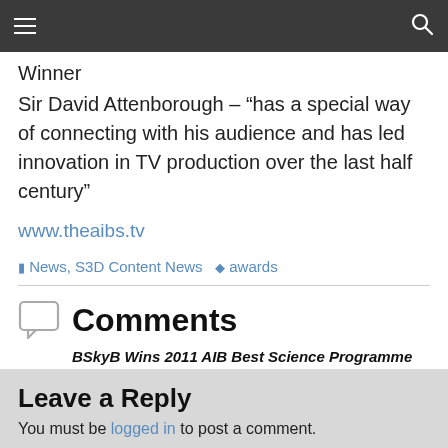≡  🔍
Winner
Sir David Attenborough – "has a special way of connecting with his audience and has led innovation in TV production over the last half century"
www.theaibs.tv
News, S3D Content News  awards
Comments
BSkyB Wins 2011 AIB Best Science Programme with Flying Monsters 3D — No Comments
Leave a Reply
You must be logged in to post a comment.